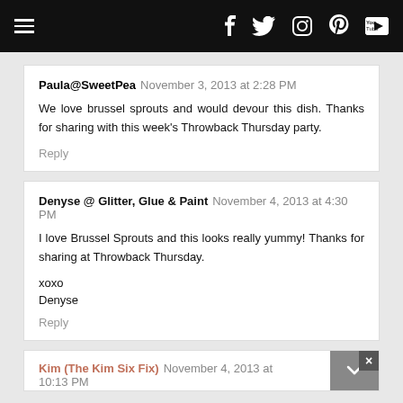Navigation bar with hamburger menu and social icons: Facebook, Twitter, Instagram, Pinterest, YouTube
Paula@SweetPea  November 3, 2013 at 2:28 PM

We love brussel sprouts and would devour this dish. Thanks for sharing with this week's Throwback Thursday party.

Reply
Denyse @ Glitter, Glue & Paint  November 4, 2013 at 4:30 PM

I love Brussel Sprouts and this looks really yummy! Thanks for sharing at Throwback Thursday.

xoxo
Denyse

Reply
Kim (The Kim Six Fix)  November 4, 2013 at 10:13 PM